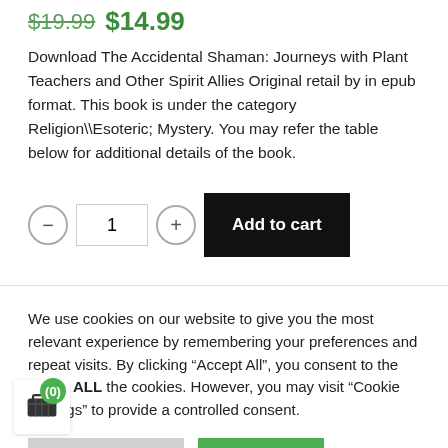$19.99 $14.99
Download The Accidental Shaman: Journeys with Plant Teachers and Other Spirit Allies Original retail by in epub format. This book is under the category Religion\Esoteric; Mystery. You may refer the table below for additional details of the book.
1  Add to cart
We use cookies on our website to give you the most relevant experience by remembering your preferences and repeat visits. By clicking “Accept All”, you consent to the use of ALL the cookies. However, you may visit "Cookie Settings" to provide a controlled consent.
Cookie Settings   Accept All